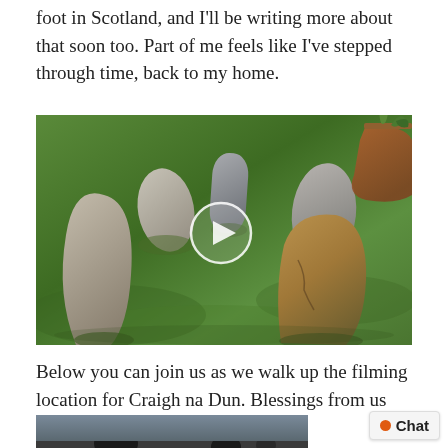foot in Scotland, and I'll be writing more about that soon too. Part of me feels like I've stepped through time, back to my home.
[Figure (photo): A circle of standing stones arranged on a grass lawn, with a terracotta pot visible in the upper right corner. A video play button is overlaid in the center of the image.]
Below you can join us as we walk up the filming location for Craigh na Dun. Blessings from us both, Di & Andy x
[Figure (photo): Partial view of an outdoor landscape scene, partially cut off at the bottom of the page.]